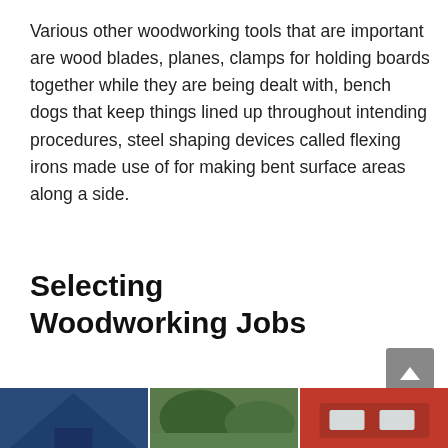Various other woodworking tools that are important are wood blades, planes, clamps for holding boards together while they are being dealt with, bench dogs that keep things lined up throughout intending procedures, steel shaping devices called flexing irons made use of for making bent surface areas along a side.
Selecting Woodworking Jobs
[Figure (photo): Three photos side by side at the bottom of the page: a blue tent or canopy on the left, outdoor foliage/trees in the middle, and a red vehicle or object on the right.]